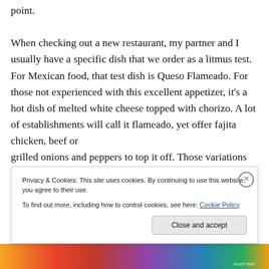point.

When checking out a new restaurant, my partner and I usually have a specific dish that we order as a litmus test. For Mexican food, that test dish is Queso Flameado. For those not experienced with this excellent appetizer, it's a hot dish of melted white cheese topped with chorizo. A lot of establishments will call it flameado, yet offer fajita chicken, beef or grilled onions and peppers to top it off. Those variations
Privacy & Cookies: This site uses cookies. By continuing to use this website, you agree to their use.
To find out more, including how to control cookies, see here: Cookie Policy
Close and accept